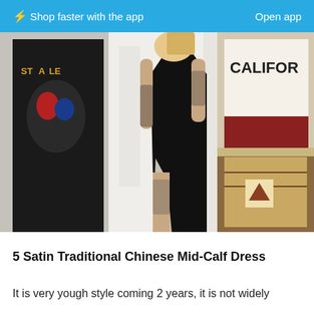⚡ Shop faster with the app   Open app
[Figure (photo): A person wearing a long black satin dress with a high slit, showing tattooed legs and arms. Background includes a Spiderman graphic t-shirt hanging on the left and a California flag/tapestry on the right.]
5 Satin Traditional Chinese Mid-Calf Dress
It is very yough style coming 2 years, it is not widely